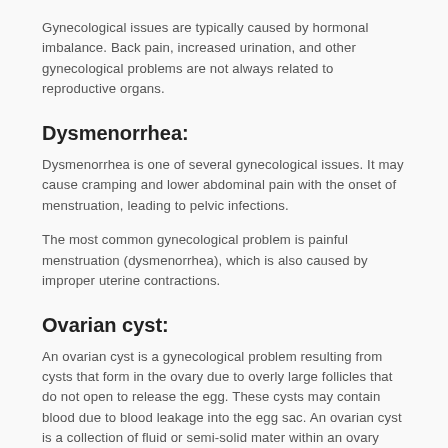Gynecological issues are typically caused by hormonal imbalance. Back pain, increased urination, and other gynecological problems are not always related to reproductive organs.
Dysmenorrhea:
Dysmenorrhea is one of several gynecological issues. It may cause cramping and lower abdominal pain with the onset of menstruation, leading to pelvic infections.
The most common gynecological problem is painful menstruation (dysmenorrhea), which is also caused by improper uterine contractions.
Ovarian cyst:
An ovarian cyst is a gynecological problem resulting from cysts that form in the ovary due to overly large follicles that do not open to release the egg. These cysts may contain blood due to blood leakage into the egg sac. An ovarian cyst is a collection of fluid or semi-solid material within an ovary surrounded by a thin wall.